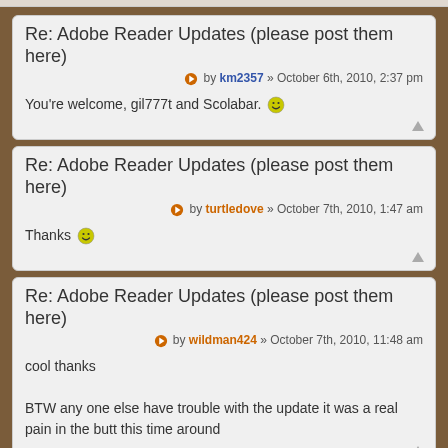Re: Adobe Reader Updates (please post them here)
by km2357 » October 6th, 2010, 2:37 pm
You're welcome, gil777t and Scolabar. 😊
Re: Adobe Reader Updates (please post them here)
by turtledove » October 7th, 2010, 1:47 am
Thanks 😊
Re: Adobe Reader Updates (please post them here)
by wildman424 » October 7th, 2010, 11:48 am
cool thanks

BTW any one else have trouble with the update it was a real pain in the butt this time around
Re: Adobe Reader Updates (please post them here)
by mambass » October 7th, 2010, 4:22 pm